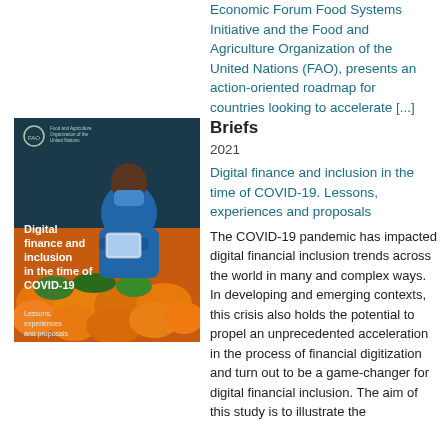Economic Forum Food Systems Initiative and the Food and Agriculture Organization of the United Nations (FAO), presents an action-oriented roadmap for countries looking to accelerate [...]
[Figure (illustration): Book cover for 'Digital finance and inclusion in the time of COVID-19. Lessons, experiences and proposals' published by FAO. Shows a man wearing a blue mask using a tablet at a market with fruits.]
Briefs
2021
Digital finance and inclusion in the time of COVID-19. Lessons, experiences and proposals
The COVID-19 pandemic has impacted digital financial inclusion trends across the world in many and complex ways. In developing and emerging contexts, this crisis also holds the potential to propel an unprecedented acceleration in the process of financial digitization and turn out to be a game-changer for digital financial inclusion. The aim of this study is to illustrate the